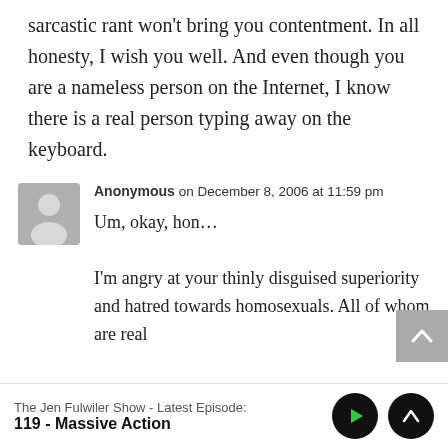sarcastic rant won't bring you contentment. In all honesty, I wish you well. And even though you are a nameless person on the Internet, I know there is a real person typing away on the keyboard.
Anonymous on December 8, 2006 at 11:59 pm
Um, okay, hon…
I'm angry at your thinly disguised superiority and hatred towards homosexuals. All of whom are real
The Jen Fulwiler Show - Latest Episode:
119 - Massive Action